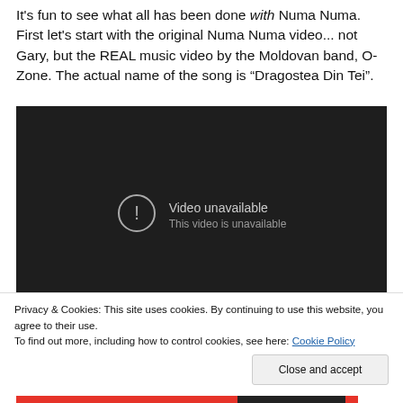It's fun to see what all has been done with Numa Numa. First let's start with the original Numa Numa video... not Gary, but the REAL music video by the Moldovan band, O-Zone. The actual name of the song is “Dragostea Din Tei”.
[Figure (screenshot): Embedded YouTube video player showing 'Video unavailable / This video is unavailable' message on a dark background]
Privacy & Cookies: This site uses cookies. By continuing to use this website, you agree to their use.
To find out more, including how to control cookies, see here: Cookie Policy